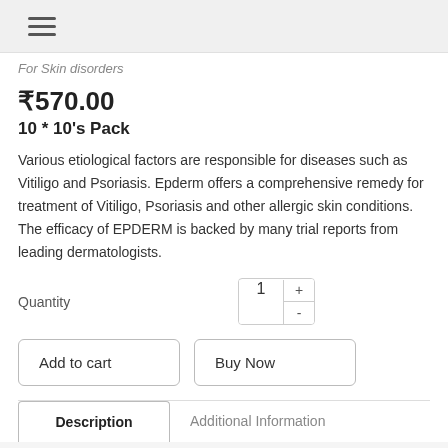☰
For Skin disorders
₹570.00
10 * 10's Pack
Various etiological factors are responsible for diseases such as Vitiligo and Psoriasis. Epderm offers a comprehensive remedy for treatment of Vitiligo, Psoriasis and other allergic skin conditions. The efficacy of EPDERM is backed by many trial reports from leading dermatologists.
Quantity
Add to cart
Buy Now
Description
Additional Information